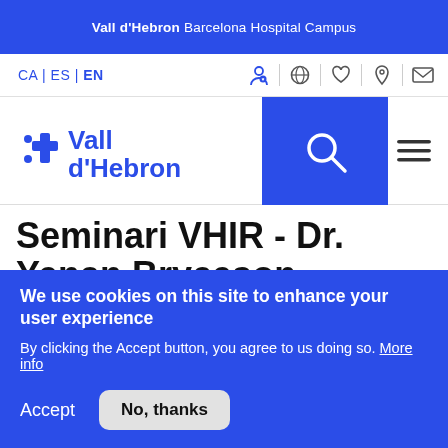Vall d'Hebron Barcelona Hospital Campus
[Figure (logo): Vall d'Hebron logo with blue cross and dot symbol, text 'Vall d'Hebron' in blue]
Seminari VHIR - Dr. Yenan Bryceson "Hemophagocytic Lymphohistiocytosis:
We use cookies on this site to enhance your user experience
By clicking the Accept button, you agree to us doing so. More info
Accept   No, thanks